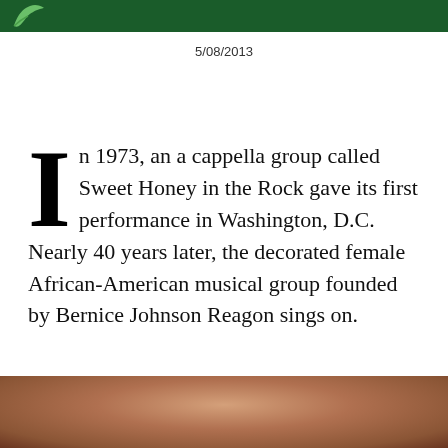5/08/2013
In 1973, an a cappella group called Sweet Honey in the Rock gave its first performance in Washington, D.C. Nearly 40 years later, the decorated female African-American musical group founded by Bernice Johnson Reagon sings on.
[Figure (photo): Close-up photo of skin texture, cropped at bottom of page]